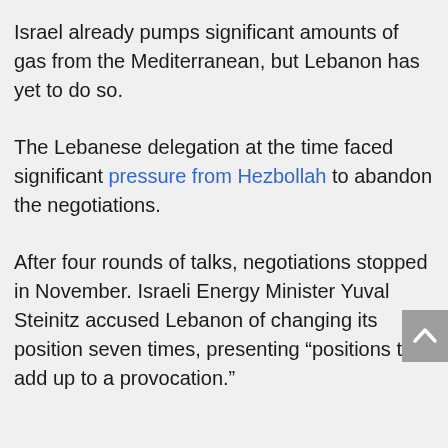Israel already pumps significant amounts of gas from the Mediterranean, but Lebanon has yet to do so.
The Lebanese delegation at the time faced significant pressure from Hezbollah to abandon the negotiations.
After four rounds of talks, negotiations stopped in November. Israeli Energy Minister Yuval Steinitz accused Lebanon of changing its position seven times, presenting “positions that add up to a provocation.”